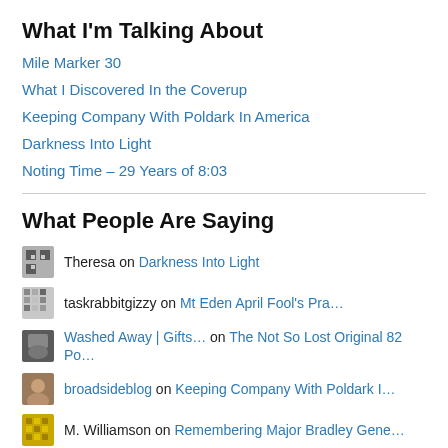What I'm Talking About
Mile Marker 30
What I Discovered In the Coverup
Keeping Company With Poldark In America
Darkness Into Light
Noting Time – 29 Years of 8:03
What People Are Saying
Theresa on Darkness Into Light
taskrabbitgizzy on Mt Eden April Fool's Pra…
Washed Away | Gifts… on The Not So Lost Original 82 Po…
broadsideblog on Keeping Company With Poldark I…
M. Williamson on Remembering Major Bradley Gene…
Categories